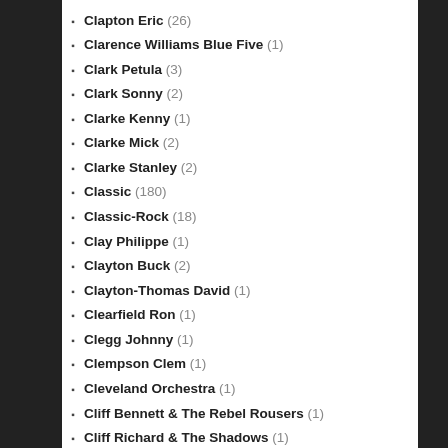Clapton Eric (26)
Clarence Williams Blue Five (1)
Clark Petula (3)
Clark Sonny (2)
Clarke Kenny (1)
Clarke Mick (2)
Clarke Stanley (2)
Classic (180)
Classic-Rock (18)
Clay Philippe (1)
Clayton Buck (2)
Clayton-Thomas David (1)
Clearfield Ron (1)
Clegg Johnny (1)
Clempson Clem (1)
Cleveland Orchestra (1)
Cliff Bennett & The Rebel Rousers (1)
Cliff Richard & The Shadows (1)
Clifton Modest (1)
Clipman Will (1)
Clooney Rosemary (1)